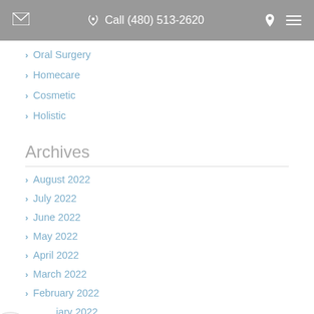Call (480) 513-2620
Oral Surgery
Homecare
Cosmetic
Holistic
Archives
August 2022
July 2022
June 2022
May 2022
April 2022
March 2022
February 2022
January 2022
December 2021
November 2021